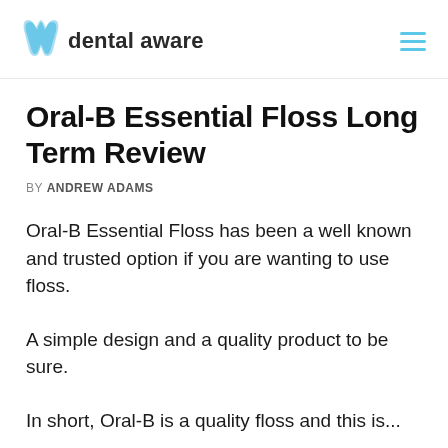dental aware
Oral-B Essential Floss Long Term Review
BY Andrew Adams
Oral-B Essential Floss has been a well known and trusted option if you are wanting to use floss.
A simple design and a quality product to be sure.
In short, Oral-B is a quality floss and this is...